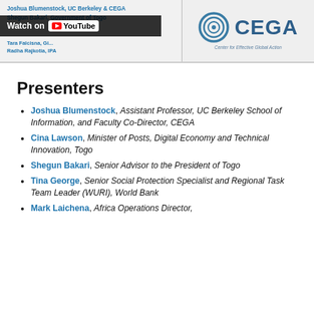[Figure (screenshot): Page header with two columns: left side shows presenter names (Joshua Blumenstock, Shegun Bakari, Cina Lawson, etc.) with a YouTube 'Watch on YouTube' overlay button; right side shows the CEGA (Center for Effective Global Action) logo with circular icon.]
Presenters
Joshua Blumenstock, Assistant Professor, UC Berkeley School of Information, and Faculty Co-Director, CEGA
Cina Lawson, Minister of Posts, Digital Economy and Technical Innovation, Togo
Shegun Bakari, Senior Advisor to the President of Togo
Tina George, Senior Social Protection Specialist and Regional Task Team Leader (WURI), World Bank
Mark Laichena, Africa Operations Director,